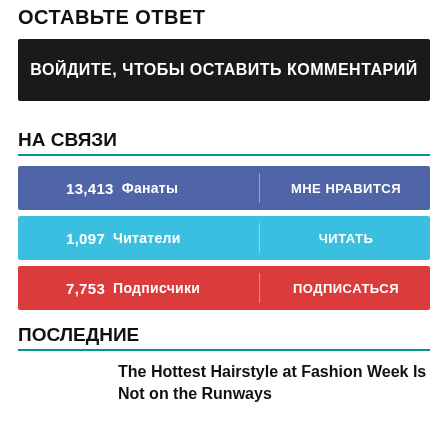ОСТАВЬТЕ ОТВЕТ
ВОЙДИТЕ, ЧТОБЫ ОСТАВИТЬ КОММЕНТАРИЙ
НА СВЯЗИ
| count | label | action |
| --- | --- | --- |
| 13,413 | Фанаты | МНЕ НРАВИТСЯ |
| 1,097 | Читатели | ЧИТАТЬ |
| 7,753 | Подписчики | ПОДПИСАТЬСЯ |
ПОСЛЕДНИЕ
The Hottest Hairstyle at Fashion Week Is Not on the Runways